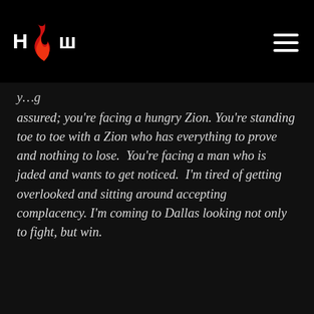HОш (logo with flame icon and hamburger menu)
y...g
assured; you're facing a hungry Zion. You're standing toe to toe with a Zion who has everything to prove and nothing to lose.  You're facing a man who is jaded and wants to get noticed.  I'm tired of getting overlooked and sitting around accepting complacency. I'm coming to Dallas looking not only to fight, but win.